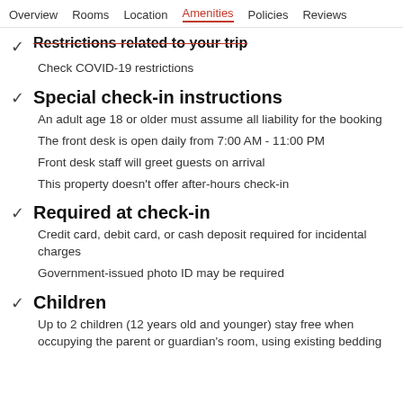Overview  Rooms  Location  Amenities  Policies  Reviews
Restrictions related to your trip
Check COVID-19 restrictions
Special check-in instructions
An adult age 18 or older must assume all liability for the booking
The front desk is open daily from 7:00 AM - 11:00 PM
Front desk staff will greet guests on arrival
This property doesn't offer after-hours check-in
Required at check-in
Credit card, debit card, or cash deposit required for incidental charges
Government-issued photo ID may be required
Children
Up to 2 children (12 years old and younger) stay free when occupying the parent or guardian's room, using existing bedding